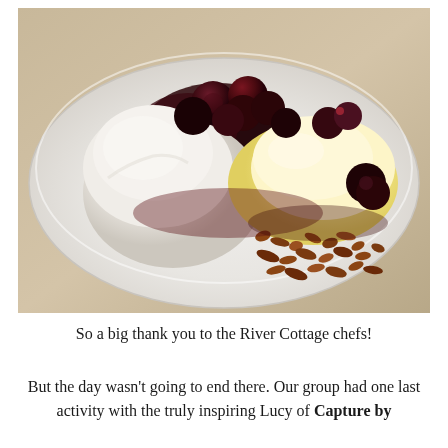[Figure (photo): A dessert on a white plate: meringue or panna cotta on the left, vanilla ice cream on the right topped with dark cherry compote and red berry coulis, with crumbled chocolate granola/praline scattered in front.]
So a big thank you to the River Cottage chefs!
But the day wasn't going to end there. Our group had one last activity with the truly inspiring Lucy of Capture by